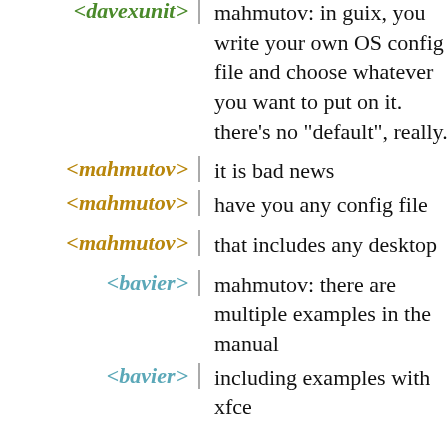<davexunit> mahmutov: in guix, you write your own OS config file and choose whatever you want to put on it. there's no "default", really.
<mahmutov> it is bad news
<mahmutov> have you any config file
<mahmutov> that includes any desktop
<bavier> mahmutov: there are multiple examples in the manual
<bavier> including examples with xfce